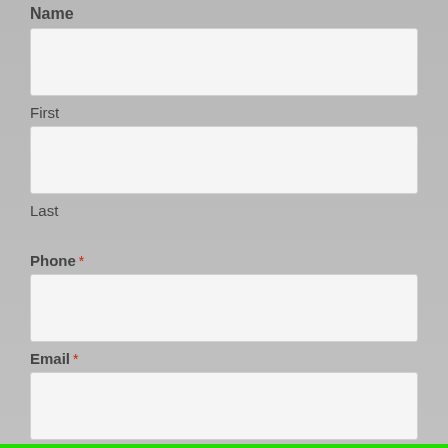Name
First
Last
Phone *
Email *
CLICK TO CALL: (810) 233-4376